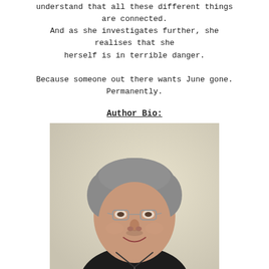understand that all these different things are connected. And as she investigates further, she realises that she herself is in terrible danger.
Because someone out there wants June gone. Permanently.
Author Bio:
[Figure (photo): Author photo: a middle-aged man with grey hair, glasses, and a black hoodie, smiling, against a light beige/cream background wall.]